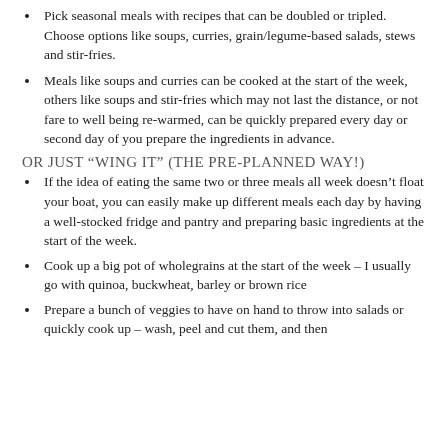Pick seasonal meals with recipes that can be doubled or tripled. Choose options like soups, curries, grain/legume-based salads, stews and stir-fries.
Meals like soups and curries can be cooked at the start of the week, others like soups and stir-fries which may not last the distance, or not fare to well being re-warmed, can be quickly prepared every day or second day of you prepare the ingredients in advance.
OR JUST “WING IT” (THE PRE-PLANNED WAY!)
If the idea of eating the same two or three meals all week doesn’t float your boat, you can easily make up different meals each day by having a well-stocked fridge and pantry and preparing basic ingredients at the start of the week.
Cook up a big pot of wholegrains at the start of the week – I usually go with quinoa, buckwheat, barley or brown rice
Prepare a bunch of veggies to have on hand to throw into salads or quickly cook up – wash, peel and cut them, and then